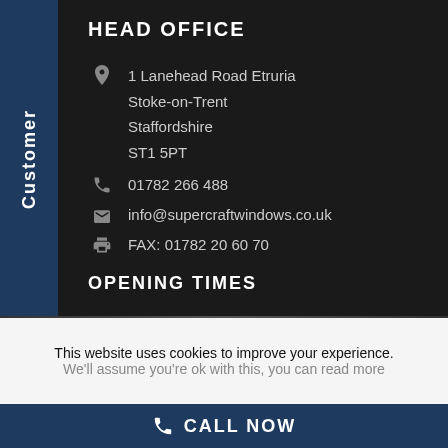HEAD OFFICE
1 Lanehead Road Etruria
Stoke-on-Trent
Staffordshire
ST1 5PT
01782 266 488
info@supercraftwindows.co.uk
FAX: 01782 20 60 70
OPENING TIMES
This website uses cookies to improve your experience.
We'll assume you're ok with this, you can read more
CALL NOW